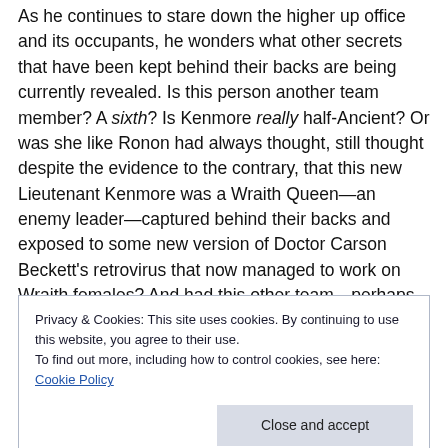As he continues to stare down the higher up office and its occupants, he wonders what other secrets that have been kept behind their backs are being currently revealed. Is this person another team member? A sixth? Is Kenmore really half-Ancient? Or was she like Ronon had always thought, still thought despite the evidence to the contrary, that this new Lieutenant Kenmore was a Wraith Queen—an enemy leader—captured behind their backs and exposed to some new version of Doctor Carson Beckett's retrovirus that now managed to work on Wraith females? And had this other team—perhaps Lorne's team since
Privacy & Cookies: This site uses cookies. By continuing to use this website, you agree to their use.
To find out more, including how to control cookies, see here: Cookie Policy
[Close and accept]
to him self, left, fiction, his place to sound above, and him he had